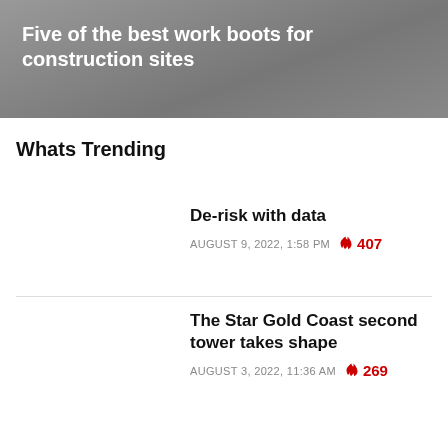[Figure (photo): Gray hero banner image background]
Five of the best work boots for construction sites
Whats Trending
De-risk with data
AUGUST 9, 2022, 1:58 PM  🔥 407
The Star Gold Coast second tower takes shape
AUGUST 3, 2022, 11:36 AM  🔥 269